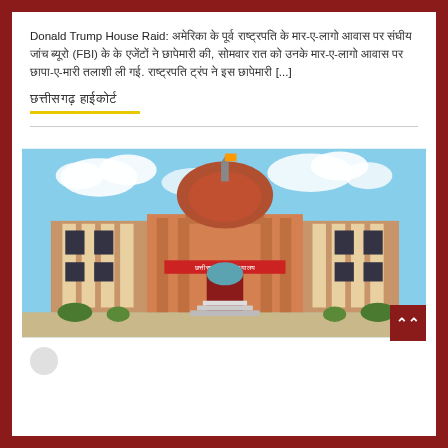Donald Trump House Raid: [Hindi text] (FBI) [Hindi text] [...]
[Hindi text - section heading]
[Figure (photo): Photograph of a large red and cream colored government/court building with a central copper dome, pillars, and a red signboard. Blue sky with clouds in the background. Appears to be Chhattisgarh High Court.]